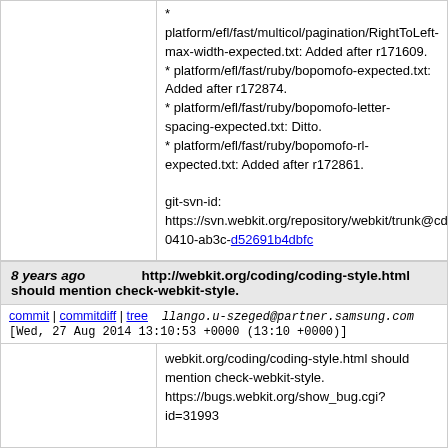* platform/efl/fast/multicol/pagination/RightToLeft-max-width-expected.txt: Added after r171609.
* platform/efl/fast/ruby/bopomofo-expected.txt: Added after r172874.
* platform/efl/fast/ruby/bopomofo-letter-spacing-expected.txt: Ditto.
* platform/efl/fast/ruby/bopomofo-rl-expected.txt: Added after r172861.

git-svn-id: https://svn.webkit.org/repository/webkit/trunk@cd09-0410-ab3c-d52691b4dbfc
8 years ago http://webkit.org/coding/coding-style.html should mention check-webkit-style.
commit | commitdiff | tree   llango.u-szeged@partner.samsung.com
[Wed, 27 Aug 2014 13:10:53 +0000 (13:10 +0000)]
webkit.org/coding/coding-style.html should mention check-webkit-style.
https://bugs.webkit.org/show_bug.cgi?id=31993

Reviewed by Darin Adler.

Based on patch by Peter Szanka <h868064@stu.szeged.hu>